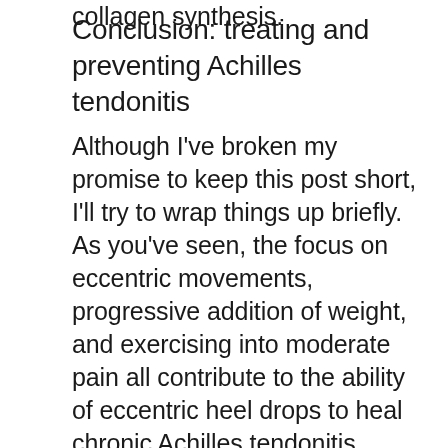collagen synthesis.
Conclusion: treating and preventing Achilles tendonitis
Although I've broken my promise to keep this post short, I'll try to wrap things up briefly. As you've seen, the focus on eccentric movements, progressive addition of weight, and exercising into moderate pain all contribute to the ability of eccentric heel drops to heal chronic Achilles tendonitis. There are ancillary benefits too: the heel drops also stretch the calf muscles and strengthen the lower leg.  Obviously, a progressive rehab protocol of eccentric heel drops should be the central part of your recovery plan if you have Achilles tendonitis.